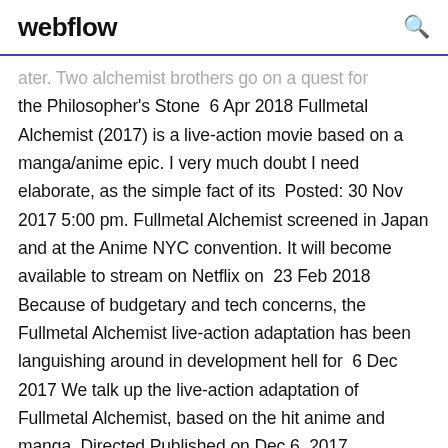webflow
ater. Two alchemist brothers go on a quest for the Philosopher's Stone  6 Apr 2018 Fullmetal Alchemist (2017) is a live-action movie based on a manga/anime epic. I very much doubt I need elaborate, as the simple fact of its  Posted: 30 Nov 2017 5:00 pm. Fullmetal Alchemist screened in Japan and at the Anime NYC convention. It will become available to stream on Netflix on  23 Feb 2018 Because of budgetary and tech concerns, the Fullmetal Alchemist live-action adaptation has been languishing around in development hell for  6 Dec 2017 We talk up the live-action adaptation of Fullmetal Alchemist, based on the hit anime and manga. Directed Published on Dec 6, 2017.